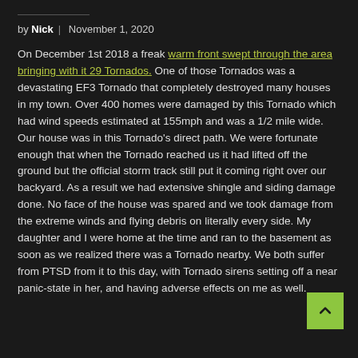by Nick | November 1, 2020
On December 1st 2018 a freak warm front swept through the area bringing with it 29 Tornados. One of those Tornados was a devastating EF3 Tornado that completely destroyed many houses in my town. Over 400 homes were damaged by this Tornado which had wind speeds estimated at 155mph and was a 1/2 mile wide. Our house was in this Tornado's direct path. We were fortunate enough that when the Tornado reached us it had lifted off the ground but the official storm track still put it coming right over our backyard. As a result we had extensive shingle and siding damage done. No face of the house was spared and we took damage from the extreme winds and flying debris on literally every side. My daughter and I were home at the time and ran to the basement as soon as we realized there was a Tornado nearby. We both suffer from PTSD from it to this day, with Tornado sirens setting off a near panic-state in her, and having adverse effects on me as well.